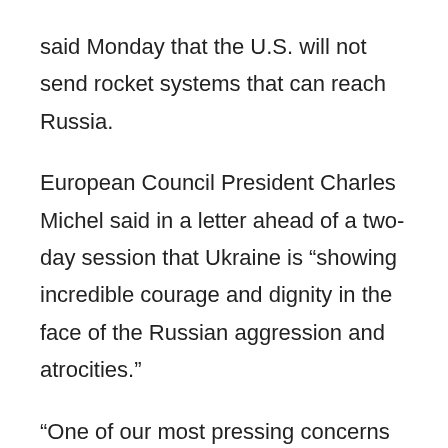said Monday that the U.S. will not send rocket systems that can reach Russia.
European Council President Charles Michel said in a letter ahead of a two-day session that Ukraine is “showing incredible courage and dignity in the face of the Russian aggression and atrocities.”
“One of our most pressing concerns is assisting the Ukrainian state, along with our international partners, with its liquidity needs,” Michel said.